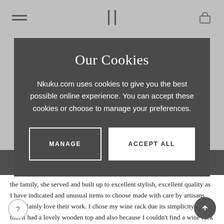Our Cookies
Nkuku.com uses cookies to give you the best possible online experience. You can accept these cookies or choose to manage your preferences.
MANAGE
ACCEPT ALL
the family, she served and built up to excellent stylish, excellent quality as I have indicated and unusual items to choose made with care by artisans who plainly love their work. I chose my wine rack due its simplicity and that it had a lovely wooden top and also because I couldn't find a wine rack in the size I wanted anywhere else and found it with nkuku, I don't have big rooms and it fits so nicely next to my dining table and